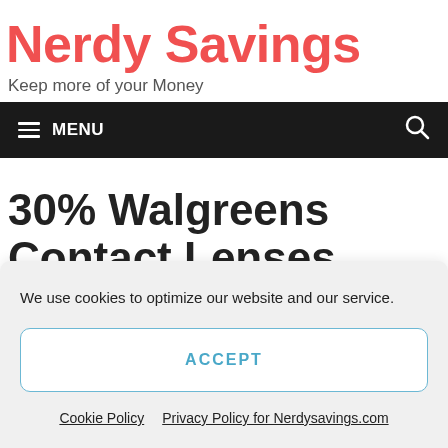Nerdy Savings
Keep more of your Money
≡ MENU
30% Walgreens Contact Lenses Coupon & Promo
We use cookies to optimize our website and our service.
ACCEPT
Cookie Policy   Privacy Policy for Nerdysavings.com